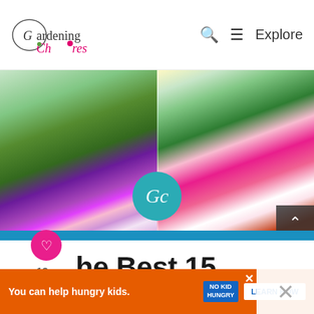Gardening Chores  🔍 ≡ Explore
[Figure (photo): Two side-by-side photos of colorful hanging flower baskets with purple, pink, magenta, and white flowers. A teal circular Gc watermark badge overlaid in the center.]
The Best 15 Flowers For Hanging Baskets
WHAT'S NEXT → 20 Best Flowers Tha...
Of the flowers you can grow in hanging baskets, some are really extraordinary, as b...
You can help hungry kids.  NO KID HUNGRY  LEARN HOW